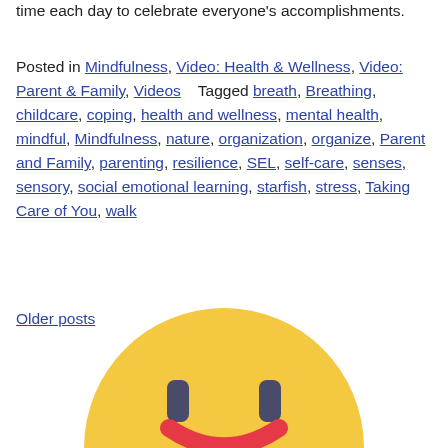families can tap into happy by getting organized and taking time each day to celebrate everyone's accomplishments.
Posted in Mindfulness, Video: Health & Wellness, Video: Parent & Family, Videos   Tagged breath, Breathing, childcare, coping, health and wellness, mental health, mindful, Mindfulness, nature, organization, organize, Parent and Family, parenting, resilience, SEL, self-care, senses, sensory, social emotional learning, starfish, stress, Taking Care of You, walk
Older posts
[Figure (illustration): Bottom portion of a yellow cartoon smiley face with two eyes (dark grey rectangles) and a red curved mouth visible at the bottom of the page.]